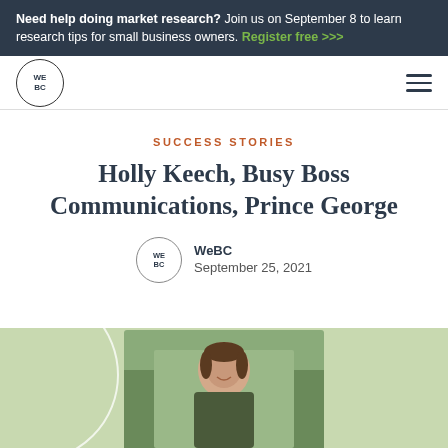Need help doing market research? Join us on September 8 to learn research tips for small business owners. Register free >>>
[Figure (logo): WeBC circular logo with text WE BC]
SUCCESS STORIES
Holly Keech, Busy Boss Communications, Prince George
WeBC
September 25, 2021
[Figure (photo): Woman smiling in a cafe/store setting, partial photo at bottom of page on green background]